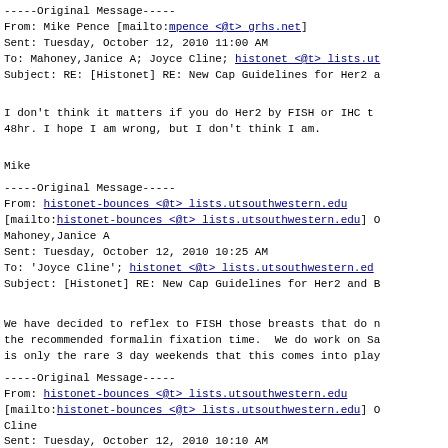-----Original Message-----
From: Mike Pence [mailto:mpence <@t> grhs.net]
Sent: Tuesday, October 12, 2010 11:00 AM
To: Mahoney,Janice A; Joyce Cline; histonet <@t> lists.ut
Subject: RE: [Histonet] RE: New Cap Guidelines for Her2 a
I don't think it matters if you do Her2 by FISH or IHC t
48hr. I hope I am wrong, but I don't think I am.
Mike
-----Original Message-----
From: histonet-bounces <@t> lists.utsouthwestern.edu
[mailto:histonet-bounces <@t> lists.utsouthwestern.edu] O
Mahoney,Janice A
Sent: Tuesday, October 12, 2010 10:25 AM
To: 'Joyce Cline'; histonet <@t> lists.utsouthwestern.ed
Subject: [Histonet] RE: New Cap Guidelines for Her2 and B
We have decided to reflex to FISH those breasts that do n
the recommended formalin fixation time.  We do work on Sa
is only the rare 3 day weekends that this comes into play
-----Original Message-----
From: histonet-bounces <@t> lists.utsouthwestern.edu
[mailto:histonet-bounces <@t> lists.utsouthwestern.edu] O
Cline
Sent: Tuesday, October 12, 2010 10:10 AM
To: histonet <@t> lists.utsouthwestern.edu
Subject: [Histonet] New Cap Guidelines for Her2 and ER/PR